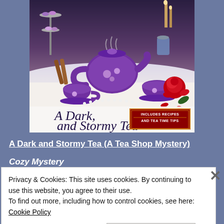[Figure (illustration): Book cover for 'A Dark and Stormy Tea' showing a purple tea set with macarons, roses, pearls, and tea time accessories on a white tablecloth. Includes a red badge reading 'INCLUDES RECIPES AND TEA TIME TIPS'. Title in dark script font at the bottom of the cover.]
A Dark and Stormy Tea (A Tea Shop Mystery)
Cozy Mystery
Privacy & Cookies: This site uses cookies. By continuing to use this website, you agree to their use.
To find out more, including how to control cookies, see here: Cookie Policy
Close and accept